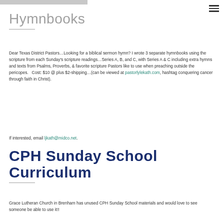[Figure (photo): Cropped top image strip, gray background]
Hymnbooks
Dear Texas District Pastors…Looking for a biblical sermon hymn? I wrote 3 separate hymnbooks using the scripture from each Sunday's scripture readings…Series A, B, and C, with Series A & C including extra hymns and texts from Psalms, Proverbs, & favorite scripture Pastors like to use when preaching outside the pericopes.   Cost: $10 @ plus $2-shipping…(can be viewed at pastorlylekath.com, hashtag conquering cancer through faith in Christ).
If interested, email ljkath@midco.net.
CPH Sunday School Curriculum
Grace Lutheran Church in Brenham has unused CPH Sunday School materials and would love to see someone be able to use it!!